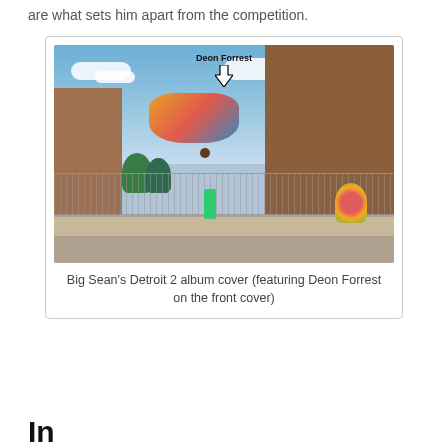are what sets him apart from the competition.
[Figure (photo): Big Sean's Detroit 2 album cover featuring Deon Forrest on the front cover. A street scene with a person standing on a sidewalk in front of a chain-link fence and brick buildings, with a group of floating figures above labeled 'Deon Forrest' with a downward arrow.]
Big Sean's Detroit 2 album cover (featuring Deon Forrest on the front cover)
In